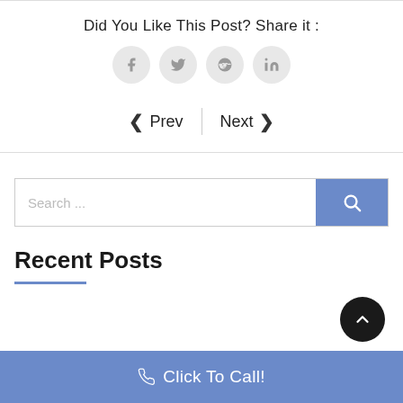Did You Like This Post? Share it :
[Figure (infographic): Four social media share icons in grey circles: Facebook, Twitter, Reddit, LinkedIn]
< Prev   Next >
[Figure (infographic): Search bar with blue search button]
Recent Posts
[Figure (infographic): Back to top button - dark circle with upward chevron]
Click To Call!